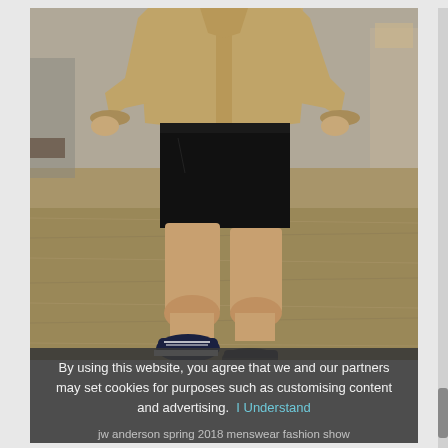[Figure (photo): Fashion photo of a male model walking on a runway outdoors, wearing a beige/khaki zip-up jacket, black shorts, and navy blue sneakers. The background shows dry grass/gravel ground. Another person is partially visible in the background.]
By using this website, you agree that we and our partners may set cookies for purposes such as customising content and advertising.  I Understand
jw anderson spring 2018 menswear fashion show